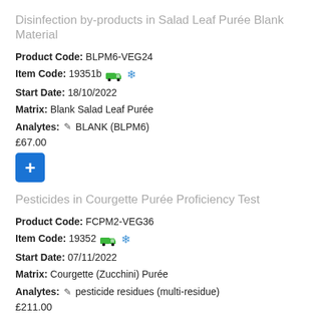Disinfection by-products in Salad Leaf Purée Blank Material
Product Code: BLPM6-VEG24
Item Code: 19351b 🚛 ❄
Start Date: 18/10/2022
Matrix: Blank Salad Leaf Purée
Analytes: ✏ BLANK (BLPM6)
£67.00
Pesticides in Courgette Purée Proficiency Test
Product Code: FCPM2-VEG36
Item Code: 19352 🚛 ❄
Start Date: 07/11/2022
Matrix: Courgette (Zucchini) Purée
Analytes: ✏ pesticide residues (multi-residue)
£211.00